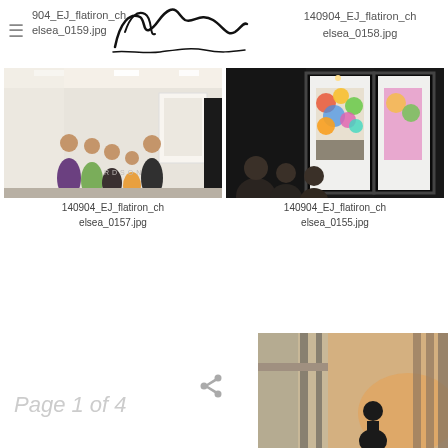904_EJ_flatiron_chelsea_0159.jpg
140904_EJ_flatiron_chelsea_0158.jpg
[Figure (photo): Art gallery interior with people viewing white framed artwork on walls, bright lighting]
140904_EJ_flatiron_chelsea_0157.jpg
[Figure (photo): Dark gallery space showing colorful painting through glass window, visitors silhouetted]
140904_EJ_flatiron_chelsea_0155.jpg
Page 1 of 4
[Figure (photo): Architectural interior with large windows and a person standing, warm sunset light]